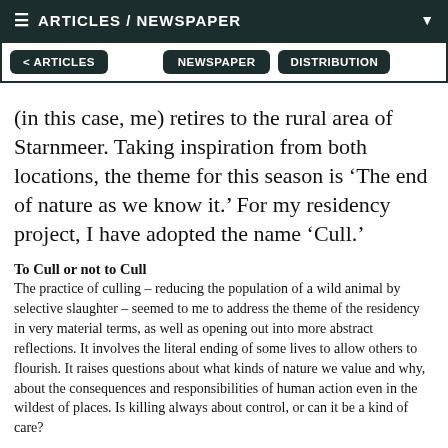≡ ARTICLES / NEWSPAPER ▼
< ARTICLES   NEWSPAPER   DISTRIBUTION
(in this case, me) retires to the rural area of Starnmeer. Taking inspiration from both locations, the theme for this season is 'The end of nature as we know it.' For my residency project, I have adopted the name 'Cull.'
To Cull or not to Cull
The practice of culling – reducing the population of a wild animal by selective slaughter – seemed to me to address the theme of the residency in very material terms, as well as opening out into more abstract reflections. It involves the literal ending of some lives to allow others to flourish. It raises questions about what kinds of nature we value and why, about the consequences and responsibilities of human action even in the wildest of places. Is killing always about control, or can it be a kind of care?
I'm learning about how these questions have taken hold here in the Netherlands, where I've lived for the past year. But...